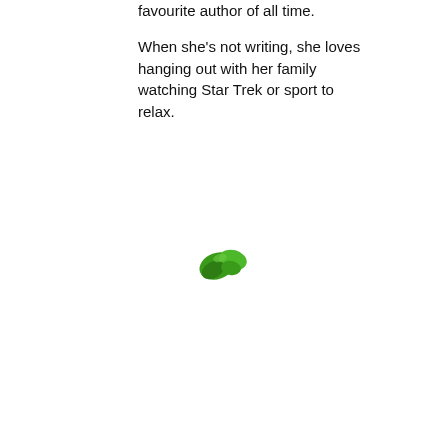favourite author of all time.
When she's not writing, she loves hanging out with her family watching Star Trek or sport to relax.
[Figure (illustration): Small green decorative bird or leaf illustration]